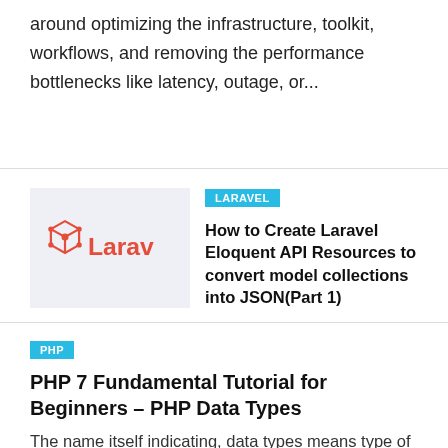around optimizing the infrastructure, toolkit, workflows, and removing the performance bottlenecks like latency, outage, or...
[Figure (logo): Laravel logo with red icon and 'Larav' text on light blue-grey background]
LARAVEL
How to Create Laravel Eloquent API Resources to convert model collections into JSON(Part 1)
PHP
PHP 7 Fundamental Tutorial for Beginners – PHP Data Types
The name itself indicating, data types means type of data.